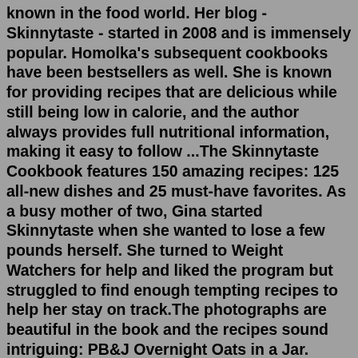known in the food world. Her blog - Skinnytaste - started in 2008 and is immensely popular. Homolka's subsequent cookbooks have been bestsellers as well. She is known for providing recipes that are delicious while still being low in calorie, and the author always provides full nutritional information, making it easy to follow ...The Skinnytaste Cookbook features 150 amazing recipes: 125 all-new dishes and 25 must-have favorites. As a busy mother of two, Gina started Skinnytaste when she wanted to lose a few pounds herself. She turned to Weight Watchers for help and liked the program but struggled to find enough tempting recipes to help her stay on track.The photographs are beautiful in the book and the recipes sound intriguing: PB&J Overnight Oats in a Jar. Winter Potato, Kale and Sausage Frittata. Pumpkin-obsessed Vanilla Glazed Scones. Dad's Jammin' Crepes. Breadless French Onion Soup with Parmesan-Asiago Crisps. Too-Good-to-Be-True Baked Potato Soup. Rustic Italian Gnocchi Soup. Baked chicken...